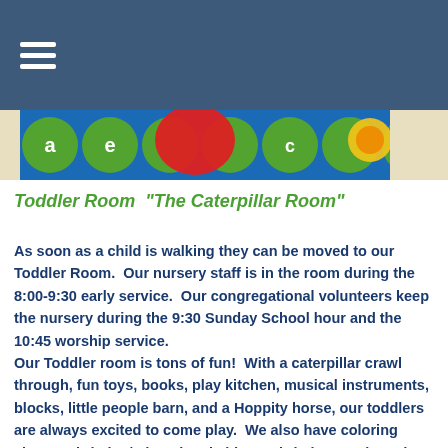[Figure (photo): Colorful educational children's rug with letters and shapes visible at the top of the page]
Toddler Room  "The Caterpillar Room"
As soon as a child is walking they can be moved to our Toddler Room.  Our nursery staff is in the room during the 8:00-9:30 early service.  Our congregational volunteers keep the nursery during the 9:30 Sunday School hour and the 10:45 worship service.
Our Toddler room is tons of fun!  With a caterpillar crawl through, fun toys, books, play kitchen, musical instruments, blocks, little people barn, and a Hoppity horse, our toddlers are always excited to come play.  We also have coloring sheets, christian/educational videos, christian music,and age appropriate crafts for special occasions.